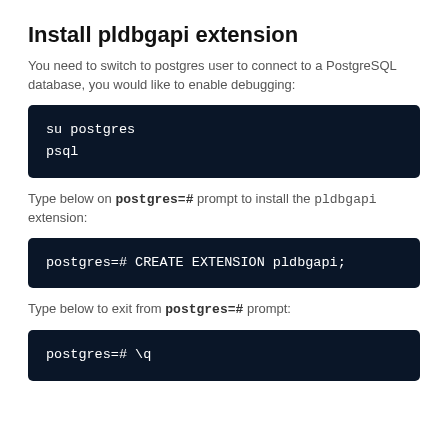Install pldbgapi extension
You need to switch to postgres user to connect to a PostgreSQL database, you would like to enable debugging:
su postgres
psql
Type below on postgres=# prompt to install the pldbgapi extension:
postgres=# CREATE EXTENSION pldbgapi;
Type below to exit from postgres=# prompt:
postgres=# \q